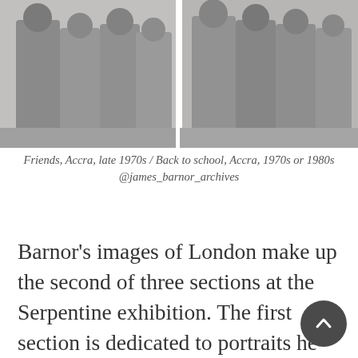[Figure (photo): Two black-and-white photographs side by side: left shows a group of friends posing outdoors in Accra, late 1970s; right shows adults and children going back to school in Accra, 1970s or 1980s.]
Friends, Accra, late 1970s / Back to school, Accra, 1970s or 1980s @james_barnor_archives
Barnor’s images of London make up the second of three sections at the Serpentine exhibition. The first section is dedicated to portraits he took in his studio, EverYoung, in Accra during the 1950s, as well as his journalistic photographs of Ghanaian independence. The third and final section is made up of colour photographs taken in post-colonial Ghana on his return from Britain in the 1970s. What unites these